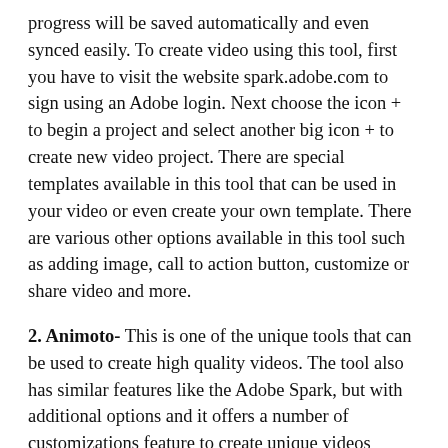progress will be saved automatically and even synced easily. To create video using this tool, first you have to visit the website spark.adobe.com to sign using an Adobe login. Next choose the icon + to begin a project and select another big icon + to create new video project. There are special templates available in this tool that can be used in your video or even create your own template. There are various other options available in this tool such as adding image, call to action button, customize or share video and more.
2. Animoto- This is one of the unique tools that can be used to create high quality videos. The tool also has similar features like the Adobe Spark, but with additional options and it offers a number of customizations feature to create unique videos related to your brand. It gives you the option to select frames, styles and colors as per your choice. To create videos in this tool you have to login into the Animoto account which is available as trial for 30 days. You can see the create button after logging in to begin your